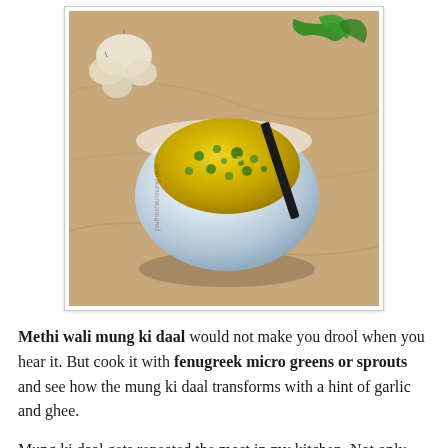[Figure (photo): A white bowl filled with yellow mung dal (lentil soup) garnished with green herbs, with a black spoon in it, placed on a marble surface with garlic cloves and green chili peppers in the background.]
Methi wali mung ki daal would not make you drool when you hear it. But cook it with fenugreek micro greens or sprouts and see how the mung ki daal transforms with a hint of garlic and ghee.
Mung ki daal gets repeated the most in my kitchen. Not only because it is a healthy lentil, I love the taste and cook the